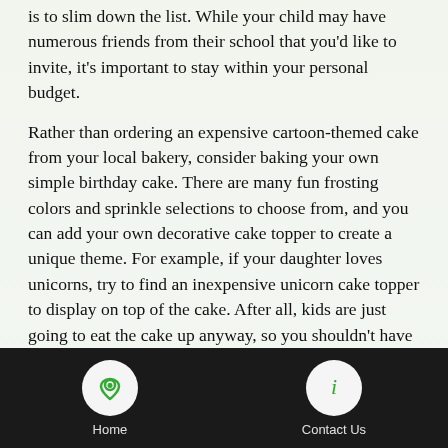is to slim down the list. While your child may have numerous friends from their school that you'd like to invite, it's important to stay within your personal budget.
Rather than ordering an expensive cartoon-themed cake from your local bakery, consider baking your own simple birthday cake. There are many fun frosting colors and sprinkle selections to choose from, and you can add your own decorative cake topper to create a unique theme. For example, if your daughter loves unicorns, try to find an inexpensive unicorn cake topper to display on top of the cake. After all, kids are just going to eat the cake up anyway, so you shouldn't have to spend an extravagant amount of money on your child's birthday cake,
If your child's birthday falls close to a friend's birthday,
Home    Contact Us